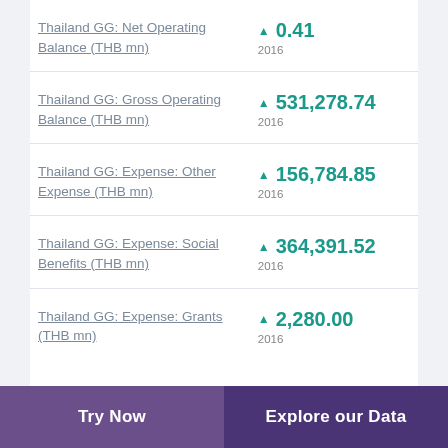Thailand GG: Net Operating Balance (THB mn)
Thailand GG: Gross Operating Balance (THB mn)
Thailand GG: Expense: Other Expense (THB mn)
Thailand GG: Expense: Social Benefits (THB mn)
Thailand GG: Expense: Grants (THB mn)
Try Now  |  Explore our Data